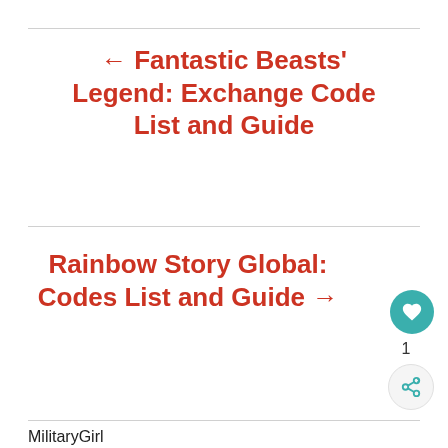← Fantastic Beasts' Legend: Exchange Code List and Guide
Rainbow Story Global: Codes List and Guide →
1
MilitaryGirl